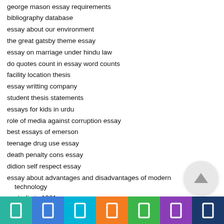george mason essay requirements
bibliography database
essay about our environment
the great gatsby theme essay
essay on marriage under hindu law
do quotes count in essay word counts
facility location thesis
essay writting company
student thesis statements
essays for kids in urdu
role of media against corruption essay
best essays of emerson
teenage drug use essay
death penalty cons essay
didion self respect essay
essay about advantages and disadvantages of modern technology
australia in 1901 essay
the tell-tale heart essay conclusion
thesis stement
edmund spenser an essay on renaissance poetry
research paper on work attitude
essay-type questions and answers of macbeth
[Figure (screenshot): Mobile app bottom navigation bar with 7 icon segments in colors: teal, blue, cyan, orange, green, purple, dark blue. Scroll-to-top button (arrow up) in gray circle on right side.]